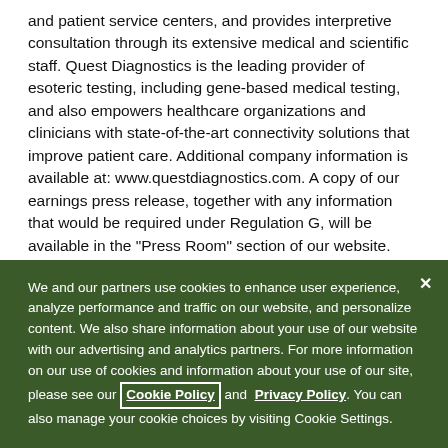and patient service centers, and provides interpretive consultation through its extensive medical and scientific staff. Quest Diagnostics is the leading provider of esoteric testing, including gene-based medical testing, and also empowers healthcare organizations and clinicians with state-of-the-art connectivity solutions that improve patient care. Additional company information is available at: www.questdiagnostics.com. A copy of our earnings press release, together with any information that would be required under Regulation G, will be available in the "Press Room" section of our website.
We and our partners use cookies to enhance user experience, analyze performance and traffic on our website, and personalize content. We also share information about your use of our website with our advertising and analytics partners. For more information on our use of cookies and information about your use of our site, please see our Cookie Policy and Privacy Policy. You can also manage your cookie choices by visiting Cookie Settings.